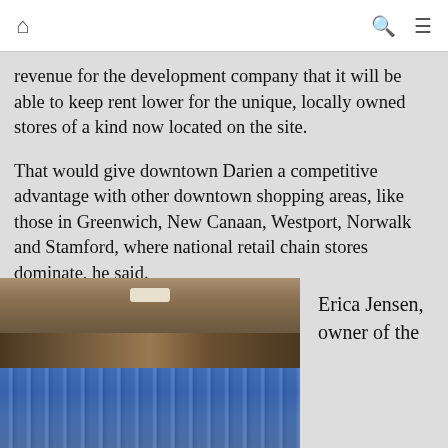home | search | menu
revenue for the development company that it will be able to keep rent lower for the unique, locally owned stores of a kind now located on the site.
That would give downtown Darien a competitive advantage with other downtown shopping areas, like those in Greenwich, New Canaan, Westport, Norwalk and Stamford, where national retail chain stores dominate, he said.
[Figure (photo): A meeting room filled with a large audience wearing blue hats, with murals on the back wall and a door visible in the center.]
Erica Jensen, owner of the